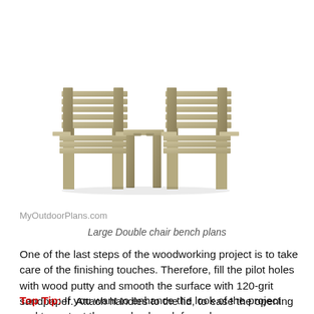[Figure (illustration): 3D illustration of a large double chair bench with armrests, slat backs, slat seats, and a small table/tray between the two chairs, made of light tan/olive wood]
MyOutdoorPlans.com
Large Double chair bench plans
One of the last steps of the woodworking project is to take care of the finishing touches. Therefore, fill the pilot holes with wood putty and smooth the surface with 120-grit sandpaper. Attach handles to the lid, to ease the opening process.
Top Tip: If you want to enhance the look of the project and to protect the wooden bench from decay, we recommend